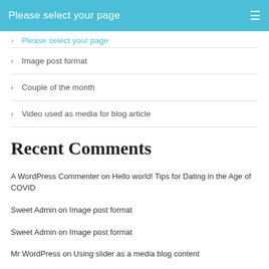Please select your page
Image post format
Couple of the month
Video used as media for blog article
Recent Comments
A WordPress Commenter on Hello world! Tips for Dating in the Age of COVID
Sweet Admin on Image post format
Sweet Admin on Image post format
Mr WordPress on Using slider as a media blog content
Matty on KitchenAid Artisan Stand Mixer